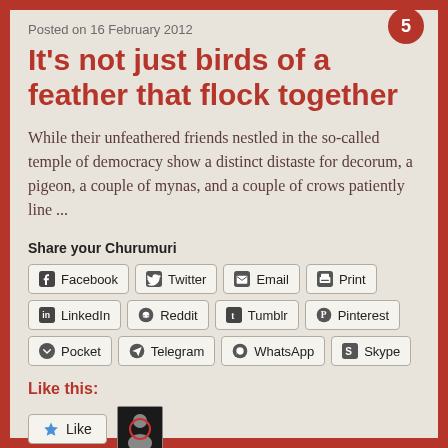Posted on 16 February 2012
It's not just birds of a feather that flock together
While their unfeathered friends nestled in the so-called temple of democracy show a distinct distaste for decorum, a pigeon, a couple of mynas, and a couple of crows patiently line ...
Share your Churumuri
Facebook  Twitter  Email  Print  LinkedIn  Reddit  Tumblr  Pinterest  Pocket  Telegram  WhatsApp  Skype
Like this:
Like
2 bloggers like this.